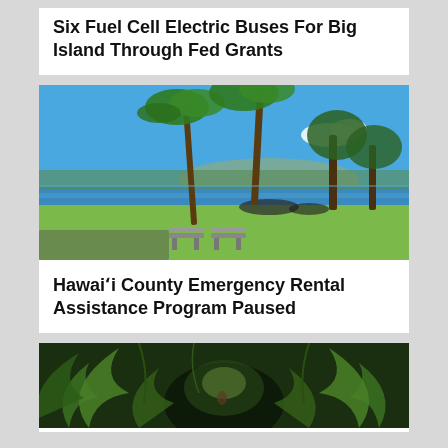Six Fuel Cell Electric Buses For Big Island Through Fed Grants
[Figure (photo): Coastal park scene in Hilo, Hawaii with palm trees, green lawn, benches, and ocean/bay in background with mountains]
Hawaiʻi County Emergency Rental Assistance Program Paused
[Figure (photo): Lush tropical rainforest scene with large fern fronds and dense jungle vegetation]